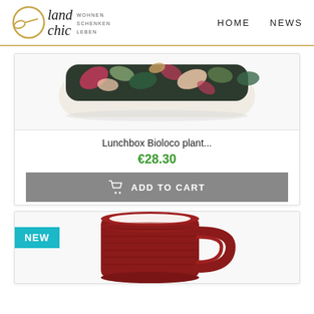[Figure (logo): Landchic logo with circular gold emblem and script text 'land chic', tagline 'Wohnen Schenken Leben']
HOME   NEWS
[Figure (photo): Lunchbox Bioloco plant with tropical leaf pattern, top-down view on white background]
Lunchbox Bioloco plant...
€28.30
ADD TO CART
[Figure (photo): Dark red ceramic mug with embossed ribbed pattern and handle, NEW badge label]